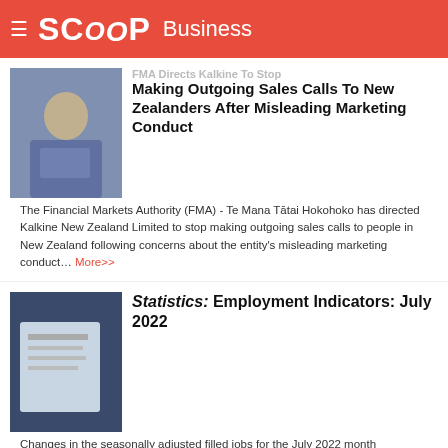SCOOP Business
[Figure (photo): Thumbnail image of a person thinking, associated with the Kalkine article]
Making Outgoing Sales Calls To New Zealanders After Misleading Marketing Conduct
The Financial Markets Authority (FMA) - Te Mana Tātai Hokohoko has directed Kalkine New Zealand Limited to stop making outgoing sales calls to people in New Zealand following concerns about the entity's misleading marketing conduct… More>>
[Figure (photo): Thumbnail image of documents/papers, associated with the Statistics article]
Statistics: Employment Indicators: July 2022
Changes in the seasonally adjusted filled jobs for the July 2022 month (compared with the June 2022 month) were… More>>